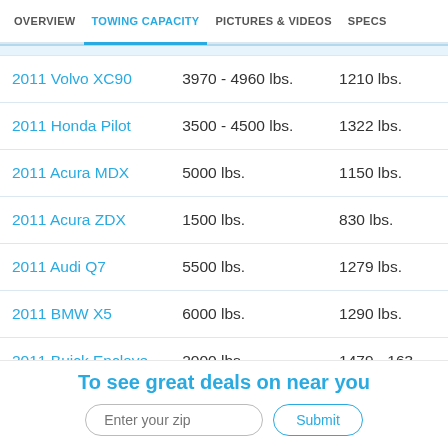OVERVIEW | TOWING CAPACITY | PICTURES & VIDEOS | SPECS
|  |  |  |
| --- | --- | --- |
| 2011 Volvo XC90 | 3970 - 4960 lbs. | 1210 lbs. |
| 2011 Honda Pilot | 3500 - 4500 lbs. | 1322 lbs. |
| 2011 Acura MDX | 5000 lbs. | 1150 lbs. |
| 2011 Acura ZDX | 1500 lbs. | 830 lbs. |
| 2011 Audi Q7 | 5500 lbs. | 1279 lbs. |
| 2011 BMW X5 | 6000 lbs. | 1290 lbs. |
| 2011 Buick Enclave | 2000 lbs. | 1479 - 163 |
To see great deals on near you
Enter your zip | Submit